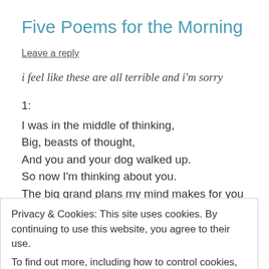Five Poems for the Morning
Leave a reply
i feel like these are all terrible and i'm sorry
1:
I was in the middle of thinking,
Big, beasts of thought,
And you and your dog walked up.
So now I'm thinking about you.
The big grand plans my mind makes for you at 7 AM.
Privacy & Cookies: This site uses cookies. By continuing to use this website, you agree to their use.
To find out more, including how to control cookies, see here: Cookie Policy
Close and accept
How did he ask her to pose?